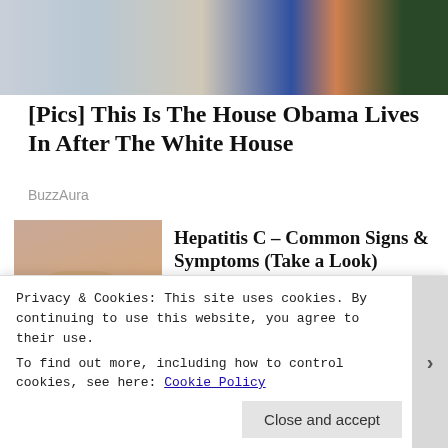[Figure (photo): Partial photo of two people, one in blue outfit, background with greenery]
[Pics] This Is The House Obama Lives In After The White House
BuzzAura
[Figure (photo): Close-up photo of a person touching their neck/throat area]
Hepatitis C – Common Signs & Symptoms (Take a Look)
Hepatitis C | Search Ads
[Figure (photo): Partial photo thumbnail, dark rounded object visible]
[Photos] At 67, John Travolta
Privacy & Cookies: This site uses cookies. By continuing to use this website, you agree to their use.
To find out more, including how to control cookies, see here: Cookie Policy
Close and accept